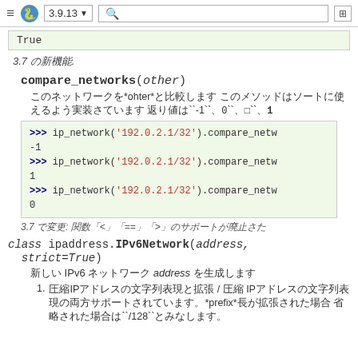≡ 🐍 3.9.13 ▼  🔍  ⊞
True
3.7 の新機能.
compare_networks(other)
このネットワークを*ohter*と比較します このメソッドはソートに使えるよう実装さています 返り値は``-1``、``0``、または``1``
[Figure (screenshot): Python interactive session showing compare_networks calls returning -1, 1, and 0]
3.7 で変更: 関数「<」「==」「>」のサポートが廃止さた
class ipaddress.IPv6Network(address, strict=True)
新しい IPv6 ネットワーク address を生成します
1. 圧縮IPアドレスの文字列表現と拡張 / 圧縮 IPアドレスの文字列表現の両方サポートされています。*prefix*長が拡張された場合 省略された場合は``/128``とみなします。